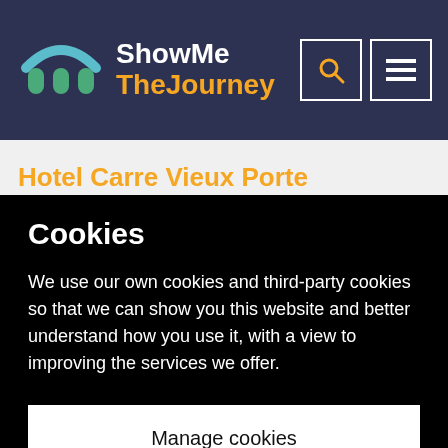[Figure (logo): ShowMe TheJourney logo with teal/blue arch icon and orange text]
Hotel Carre Vieux Porte
Budget:
Cookies
We use our own cookies and third-party cookies so that we can show you this website and better understand how you use it, with a view to improving the services we offer.
Manage cookies
Accept all